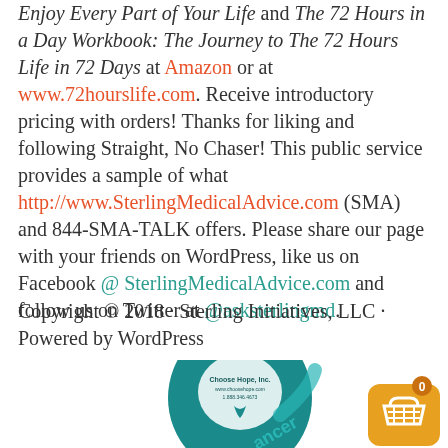Enjoy Every Part of Your Life and The 72 Hours in a Day Workbook: The Journey to The 72 Hours Life in 72 Days at Amazon or at www.72hourslife.com. Receive introductory pricing with orders! Thanks for liking and following Straight, No Chaser! This public service provides a sample of what http://www.SterlingMedicalAdvice.com (SMA) and 844-SMA-TALK offers. Please share our page with your friends on WordPress, like us on Facebook @ SterlingMedicalAdvice.com and follow us on Twitter at @asksterlingmd.
Copyright © 2018 · Sterling Initiatives, LLC · Powered by WordPress
[Figure (illustration): Teal cancer awareness ribbon with 'Choose Hope, Inc.' logo and text, partially visible. A gold shopping cart app icon with '0' badge in the bottom right corner.]